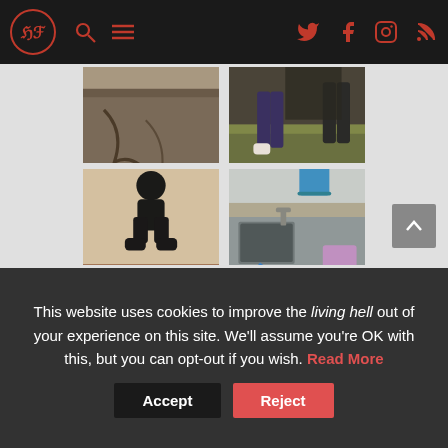[Figure (screenshot): Website header navigation bar with logo (HF in circle), search icon, menu icon, and social media icons (Twitter, Facebook, Instagram, RSS) on dark background]
[Figure (photo): Four photos arranged in a 2x2 grid: top-left shows cracked ground/floor, top-right shows people's legs standing on pavement near grass, bottom-left shows a person crouching on a wooden floor, bottom-right shows utility area with blue bucket and faucet/tap]
This website uses cookies to improve the living hell out of your experience on this site. We'll assume you're OK with this, but you can opt-out if you wish. Read More
Accept
Reject